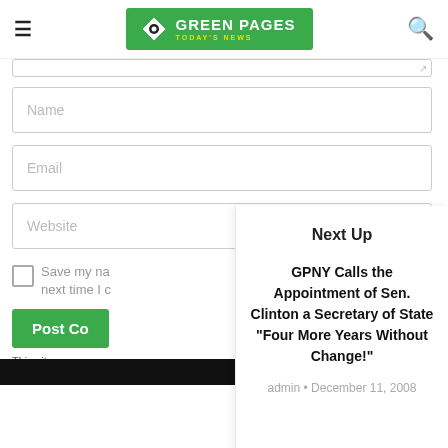Green Pages Today's News
[Figure (screenshot): Form with Name, Email, Website input fields, a checkbox for saving info, a Post Comment button, and a privacy note]
Next Up
GPNY Calls the Appointment of Sen. Clinton as Secretary of State "Four More Years Without Change!"
admin • December 11, 2008